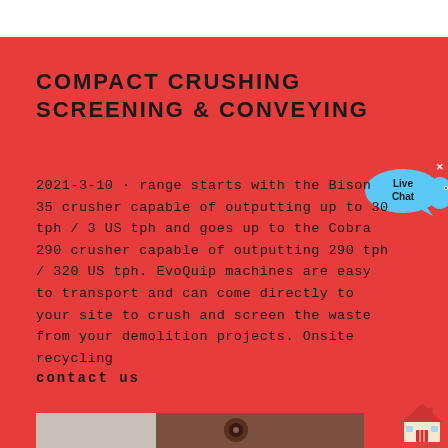COMPACT CRUSHING SCREENING & CONVEYING
2021-3-10 · range starts with the Bison 35 crusher capable of outputting up to 30 tph / 3 US tph and goes up to the Cobra 290 crusher capable of outputting 290 tph / 320 US tph. EvoQuip machines are easy to transport and can come directly to your site to crush and screen the waste from your demolition projects. Onsite recycling
contact us
[Figure (photo): Photo of industrial crushing/screening equipment machinery]
[Figure (illustration): Live Chat speech bubble icon with blue color]
[Figure (illustration): House/building icon in red and cream colors]